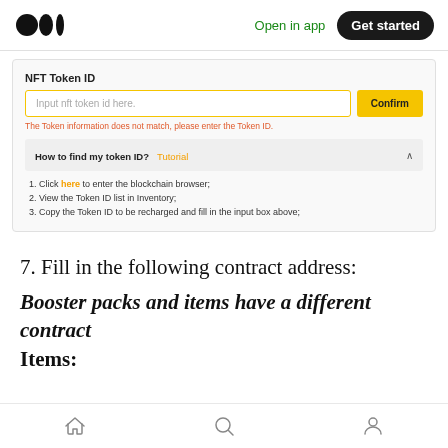Medium logo | Open in app | Get started
[Figure (screenshot): Screenshot of an NFT Token ID input interface with a text field labeled 'Input nft token id here.', a yellow Confirm button, an error message 'The Token information does not match, please enter the Token ID.', and a collapsible FAQ section 'How to find my token ID? Tutorial' with 3 steps.]
7. Fill in the following contract address:
Booster packs and items have a different contract
Items:
Home | Search | Profile navigation icons